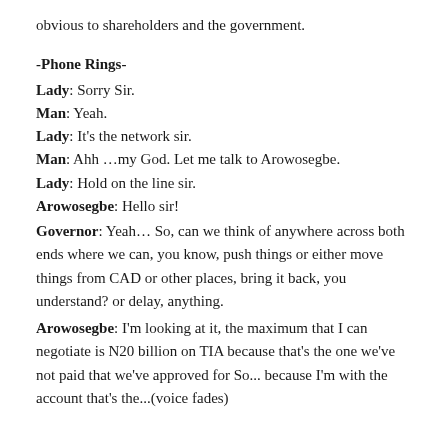obvious to shareholders and the government.
-Phone Rings-
Lady: Sorry Sir.
Man: Yeah.
Lady: It's the network sir.
Man: Ahh …my God. Let me talk to Arowosegbe.
Lady: Hold on the line sir.
Arowosegbe: Hello sir!
Governor: Yeah… So, can we think of anywhere across both ends where we can, you know, push things or either move things from CAD or other places, bring it back, you understand? or delay, anything.
Arowosegbe: I'm looking at it, the maximum that I can negotiate is N20 billion on TIA because that's the one we've not paid that we've approved for So... because I'm with the account that's the...(voice fades)